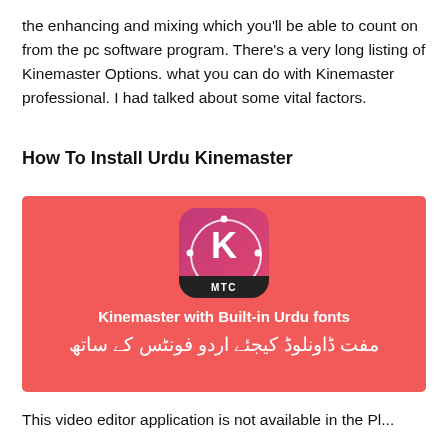the enhancing and mixing which you'll be able to count on from the pc software program. There's a very long listing of Kinemaster Options. what you can do with Kinemaster professional. I had talked about some vital factors.
How To Install Urdu Kinemaster
[Figure (illustration): Red banner image with KineMaster app icon (K logo with MTC label), text 'Kinemaster with Built-in Urdu fonts' and Urdu text below it]
This video editor application is not available in the Pl...